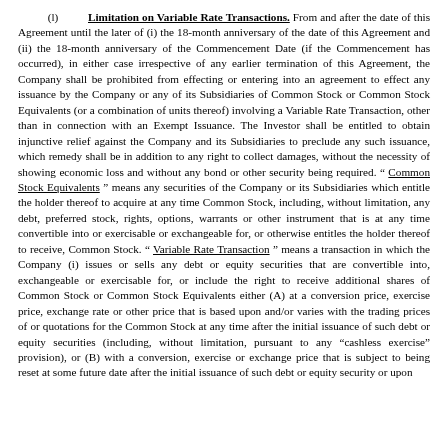(l) Limitation on Variable Rate Transactions. From and after the date of this Agreement until the later of (i) the 18-month anniversary of the date of this Agreement and (ii) the 18-month anniversary of the Commencement Date (if the Commencement has occurred), in either case irrespective of any earlier termination of this Agreement, the Company shall be prohibited from effecting or entering into an agreement to effect any issuance by the Company or any of its Subsidiaries of Common Stock or Common Stock Equivalents (or a combination of units thereof) involving a Variable Rate Transaction, other than in connection with an Exempt Issuance. The Investor shall be entitled to obtain injunctive relief against the Company and its Subsidiaries to preclude any such issuance, which remedy shall be in addition to any right to collect damages, without the necessity of showing economic loss and without any bond or other security being required. “ Common Stock Equivalents ” means any securities of the Company or its Subsidiaries which entitle the holder thereof to acquire at any time Common Stock, including, without limitation, any debt, preferred stock, rights, options, warrants or other instrument that is at any time convertible into or exercisable or exchangeable for, or otherwise entitles the holder thereof to receive, Common Stock. “ Variable Rate Transaction ” means a transaction in which the Company (i) issues or sells any debt or equity securities that are convertible into, exchangeable or exercisable for, or include the right to receive additional shares of Common Stock or Common Stock Equivalents either (A) at a conversion price, exercise price, exchange rate or other price that is based upon and/or varies with the trading prices of or quotations for the Common Stock at any time after the initial issuance of such debt or equity securities (including, without limitation, pursuant to any “cashless exercise” provision), or (B) with a conversion, exercise or exchange price that is subject to being reset at some future date after the initial issuance of such debt or equity security or upon